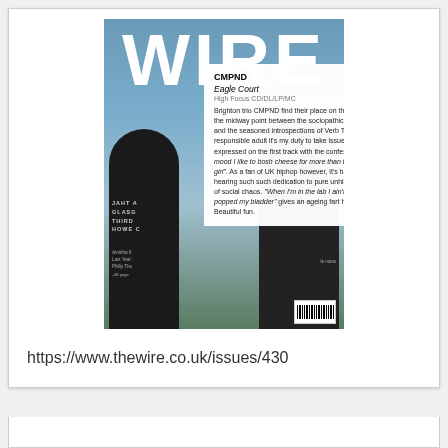[Figure (photo): Screenshot of The Wire magazine cover (issue 430) showing 'WIRE' in large white letters on a blue-grey sky background with two people in dark clothing, overlaid with a white popup box containing a review of CMPND - Eagle Court on High Focus CD/DL/LP/MC]
https://www.thewire.co.uk/issues/430